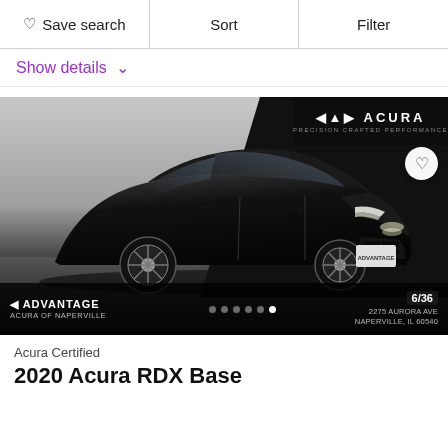Save search | Sort | Filter
Show details
[Figure (photo): Black 2020 Acura RDX SUV photographed in a dealer studio setting with Acura logo and Advantage Acura of Naperville branding. Image 6 of 36. Dealer address: 2275 Aurora Ave, Naperville, IL 60540.]
Acura Certified
2020 Acura RDX Base